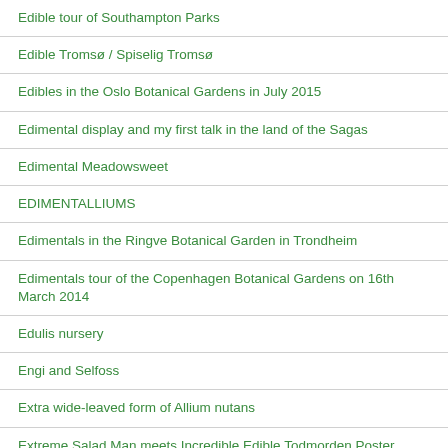Edible tour of Southampton Parks
Edible Tromsø / Spiselig Tromsø
Edibles in the Oslo Botanical Gardens in July 2015
Edimental display and my first talk in the land of the Sagas
Edimental Meadowsweet
EDIMENTALLIUMS
Edimentals in the Ringve Botanical Garden in Trondheim
Edimentals tour of the Copenhagen Botanical Gardens on 16th March 2014
Edulis nursery
Engi and Selfoss
Extra wide-leaved form of Allium nutans
Extreme Salad Man meets Incredible Edible Todmorden Poster